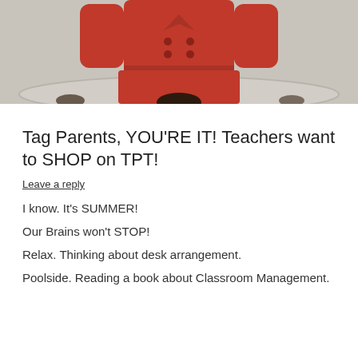[Figure (photo): A person wearing a red suit/coat, photographed from below, with a beige/grey background visible at the top.]
Tag Parents, YOU'RE IT! Teachers want to SHOP on TPT!
Leave a reply
I know. It's SUMMER!
Our Brains won't STOP!
Relax. Thinking about desk arrangement.
Poolside. Reading a book about Classroom Management.